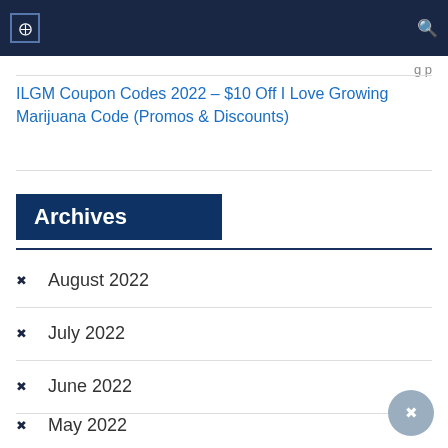...g p
ILGM Coupon Codes 2022 – $10 Off I Love Growing Marijuana Code (Promos & Discounts)
Archives
August 2022
July 2022
June 2022
May 2022
April 2022